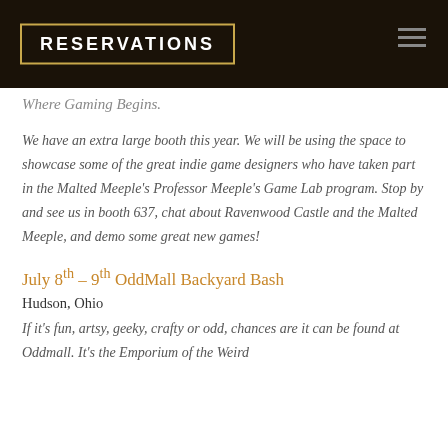RESERVATIONS
Where Gaming Begins.
We have an extra large booth this year. We will be using the space to showcase some of the great indie game designers who have taken part in the Malted Meeple's Professor Meeple's Game Lab program. Stop by and see us in booth 637, chat about Ravenwood Castle and the Malted Meeple, and demo some great new games!
July 8th – 9th OddMall Backyard Bash
Hudson, Ohio
If it's fun, artsy, geeky, crafty or odd, chances are it can be found at Oddmall. It's the Emporium of the Weird